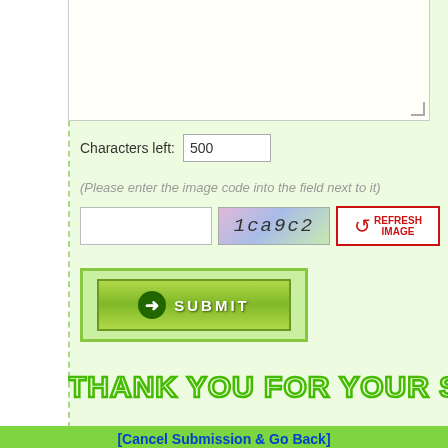[Figure (screenshot): Textarea input box (top, partially visible) with light yellow-white background and grey border]
Characters left: 500
(Please enter the image code into the field next to it)
[Figure (screenshot): CAPTCHA row: text input box, CAPTCHA image showing '1ca9c2', and REFRESH IMAGE button with red arrow]
[Figure (screenshot): SUBMIT button inside green bordered box]
THANK YOU FOR YOUR SUPP...
[Cancel Submission & Go Back]
Copyright © 2006-2019 Nomoz Web Directory - All rights reserved : About No...
[Figure (illustration): Decorative grass and flower border at the bottom of the page]